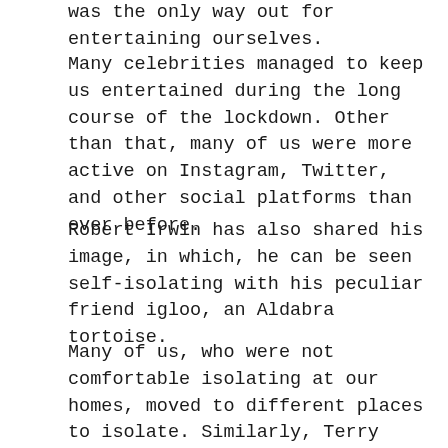was the only way out for entertaining ourselves.
Many celebrities managed to keep us entertained during the long course of the lockdown. Other than that, many of us were more active on Instagram, Twitter, and other social platforms than ever before.
Robert Irwin has also shared his image, in which, he can be seen self-isolating with his peculiar friend igloo, an Aldabra tortoise.
Many of us, who were not comfortable isolating at our homes, moved to different places to isolate. Similarly, Terry Irwin, along with her children; 16-year-old Robert Irwin, Bindi, and her husband Chandler moved to a zoo for isolation though during this time when Robert